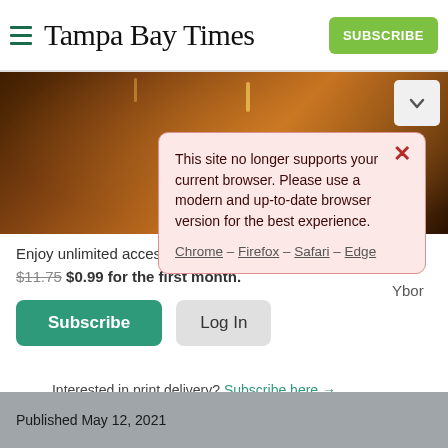Tampa Bay Times — SUBSCRIBE
[Figure (photo): Background photo of a restaurant/bar interior with warm amber lighting]
This site no longer supports your current browser. Please use a modern and up-to-date browser version for the best experience.
Chrome – Firefox – Safari – Edge
Enjoy unlimited access to tampabay.com for only $11.75 $0.99 for the first month.
Subscribe   Log In
Interested in print delivery? Subscribe here →
Published May 12, 2021